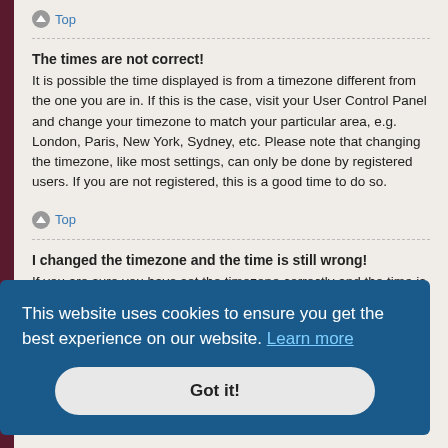Top
The times are not correct!
It is possible the time displayed is from a timezone different from the one you are in. If this is the case, visit your User Control Panel and change your timezone to match your particular area, e.g. London, Paris, New York, Sydney, etc. Please note that changing the timezone, like most settings, can only be done by registered users. If you are not registered, this is a good time to do so.
Top
I changed the timezone and the time is still wrong!
If you are sure you have set the timezone correctly and the time is still incorrect, then the time stored on the server clock is incorrect. Please notify
This website uses cookies to ensure you get the best experience on our website. Learn more
Got it!